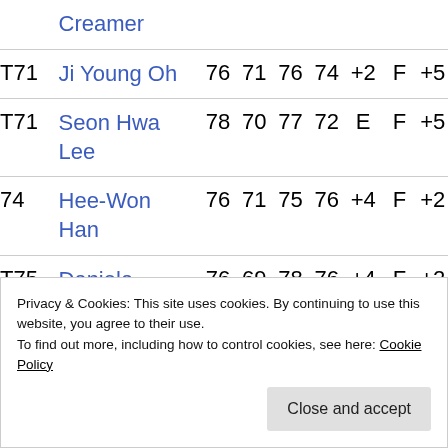| Pos | Player | R1 | R2 | R3 | R4 | To Par | Status | Score |
| --- | --- | --- | --- | --- | --- | --- | --- | --- |
|  | Creamer |  |  |  |  |  |  |  |
| T71 | Ji Young Oh | 76 | 71 | 76 | 74 | +2 | F | +5 |
| T71 | Seon Hwa Lee | 78 | 70 | 77 | 72 | E | F | +5 |
| 74 | Hee-Won Han | 76 | 71 | 75 | 76 | +4 | F | +2 |
| T75 | Daniela Holmqvist | 76 | 69 | 78 | 76 | +4 | F | +2 |
|  | Ciganda |  |  |  |  |  |  |  |
Privacy & Cookies: This site uses cookies. By continuing to use this website, you agree to their use.
To find out more, including how to control cookies, see here: Cookie Policy